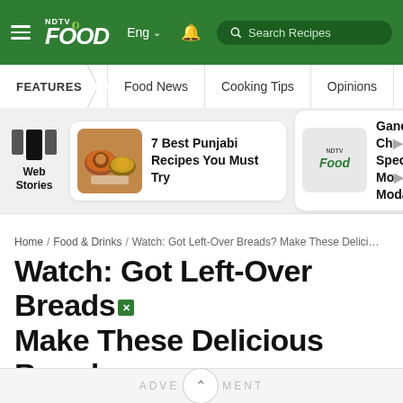NDTV Food – Eng | Search Recipes
FEATURES | Food News | Cooking Tips | Opinions | World Cuisine
[Figure (screenshot): Web Stories section with two story cards: '7 Best Punjabi Recipes You Must Try' and 'Ganesh Chaturthi Special Modak']
Home / Food & Drinks / Watch: Got Left-Over Breads? Make These Delici…
Watch: Got Left-Over Breads? Make These Delicious Bread Barfi Out Of Them
ADVERTISEMENT